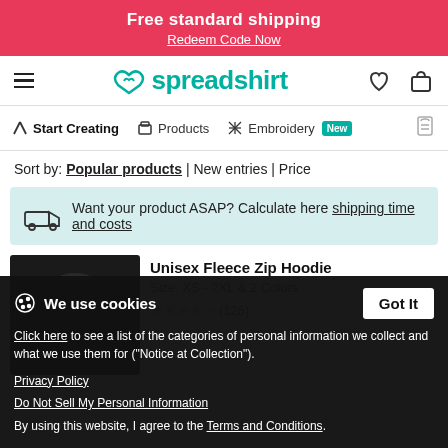Free standard shipping
Redeem Code Now
[Figure (logo): Spreadshirt logo with teal heart icon and teal wordmark, hamburger menu left, heart and cart icons right]
Start Creating | Products | Embroidery New
Sort by: Popular products | New entries | Price
Want your product ASAP? Calculate here shipping time and costs
Unisex Fleece Zip Hoodie
Size: XS - 2XL & 2 Colors
★★★★☆ (126)
We use cookies
Click here to see a list of the categories of personal information we collect and what we use them for ("Notice at Collection").
Privacy Policy
Do Not Sell My Personal Information
By using this website, I agree to the Terms and Conditions.